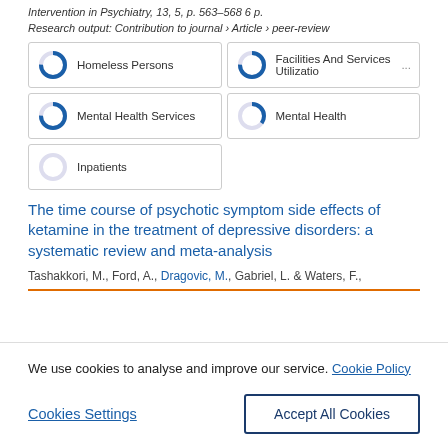Intervention in Psychiatry, 13, 5, p. 563-568 6 p.
Research output: Contribution to journal › Article › peer-review
[Figure (infographic): Five keyword badges arranged in a 2-column grid: Homeless Persons (100%), Facilities And Services Utilizatio... (100%), Mental Health Services (100%), Mental Health (60%), Inpatients (25%). Each badge has a circular ring/donut icon showing fill percentage.]
The time course of psychotic symptom side effects of ketamine in the treatment of depressive disorders: a systematic review and meta-analysis
Tashakkori, M., Ford, A., Dragovic, M., Gabriel, L. & Waters, F.,
We use cookies to analyse and improve our service. Cookie Policy
Cookies Settings
Accept All Cookies